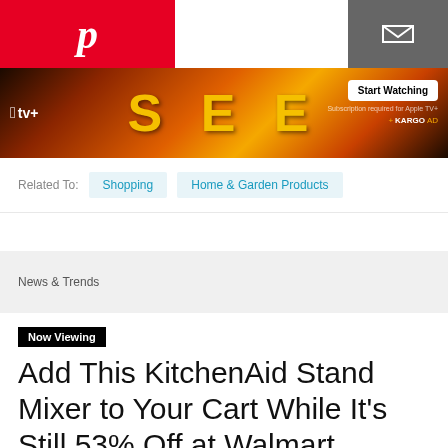[Figure (screenshot): Pinterest logo (white P on red background) in top left navigation bar]
[Figure (screenshot): Mail envelope icon (white on grey background) in top right navigation bar]
[Figure (photo): Apple TV+ advertisement banner for the show 'SEE' showing a dramatic figure with the text SEE in large yellow letters, a Start Watching button, and Kargo Ad branding]
Related To:
Shopping
Home & Garden Products
News & Trends
Now Viewing
Add This KitchenAid Stand Mixer to Your Cart While It's Still 53% Off at Walmart
It's capable of nearly any task, super compact and on sale for a limited time only — so you'd better act fast!